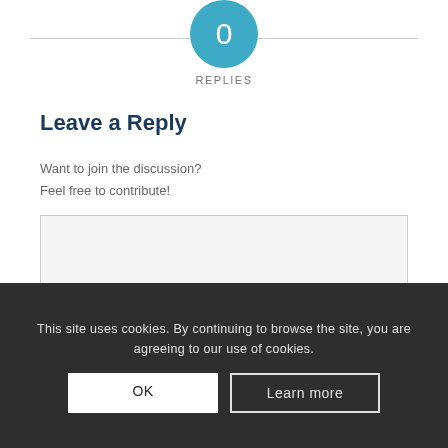[Figure (other): Teal circle with number 0 and label REPLIES below]
Leave a Reply
Want to join the discussion?
Feel free to contribute!
[Figure (other): Empty text input area with light gray background and border]
This site uses cookies. By continuing to browse the site, you are agreeing to our use of cookies.
OK    Learn more